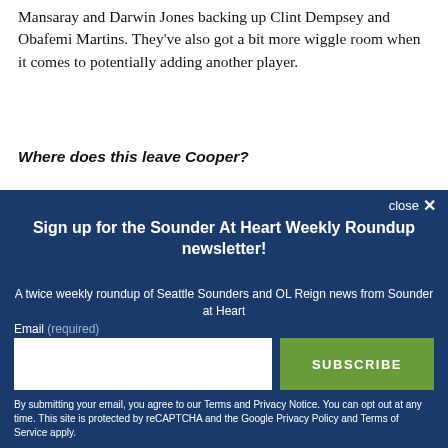Mansaray and Darwin Jones backing up Clint Dempsey and Obafemi Martins. They've also got a bit more wiggle room when it comes to potentially adding another player.
Where does this leave Cooper?
He a fall...
close ✕
Sign up for the Sounder At Heart Weekly Roundup newsletter!
A twice weekly roundup of Seattle Sounders and OL Reign news from Sounder at Heart
Email (required)
SUBSCRIBE
By submitting your email, you agree to our Terms and Privacy Notice. You can opt out at any time. This site is protected by reCAPTCHA and the Google Privacy Policy and Terms of Service apply.